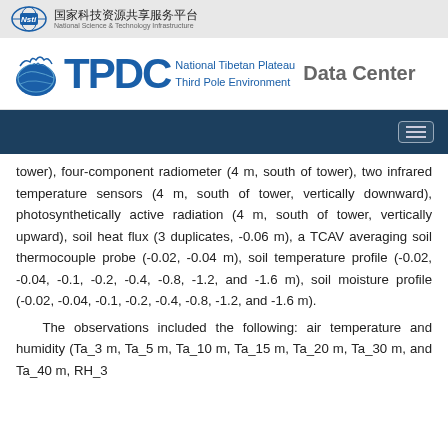[Figure (logo): NSTI National Science and Technology Infrastructure logo with Chinese text 国家科技资源共享服务平台]
[Figure (logo): TPDC National Tibetan Plateau Third Pole Environment Data Center logo]
tower), four-component radiometer (4 m, south of tower), two infrared temperature sensors (4 m, south of tower, vertically downward), photosynthetically active radiation (4 m, south of tower, vertically upward), soil heat flux (3 duplicates, -0.06 m), a TCAV averaging soil thermocouple probe (-0.02, -0.04 m), soil temperature profile (-0.02, -0.04, -0.1, -0.2, -0.4, -0.8, -1.2, and -1.6 m), soil moisture profile (-0.02, -0.04, -0.1, -0.2, -0.4, -0.8, -1.2, and -1.6 m).
The observations included the following: air temperature and humidity (Ta_3 m, Ta_5 m, Ta_10 m, Ta_15 m, Ta_20 m, Ta_30 m, and Ta_40 m, RH_3